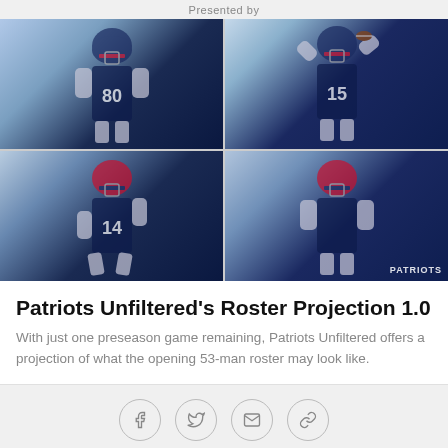Presented by
[Figure (photo): Four-panel photo grid of New England Patriots players in navy and red uniforms. Top-left: player #80 in white jersey. Top-right: player #15 catching a football. Bottom-left: player #14 running with ball. Bottom-right: player in defensive stance with PATRIOTS watermark.]
Patriots Unfiltered's Roster Projection 1.0
With just one preseason game remaining, Patriots Unfiltered offers a projection of what the opening 53-man roster may look like.